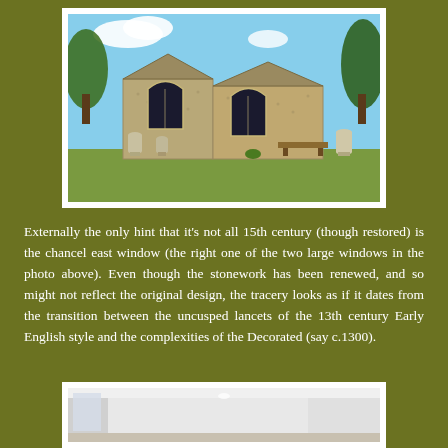[Figure (photo): Exterior photograph of an old English stone church with two large Gothic arch windows, surrounded by a graveyard with headstones, trees in background, blue sky.]
Externally the only hint that it's not all 15th century (though restored) is the chancel east window (the right one of the two large windows in the photo above). Even though the stonework has been renewed, and so might not reflect the original design, the tracery looks as if it dates from the transition between the uncusped lancets of the 13th century Early English style and the complexities of the Decorated (say c.1300).
[Figure (photo): Interior photograph of a white-painted church interior showing white walls and ceiling.]